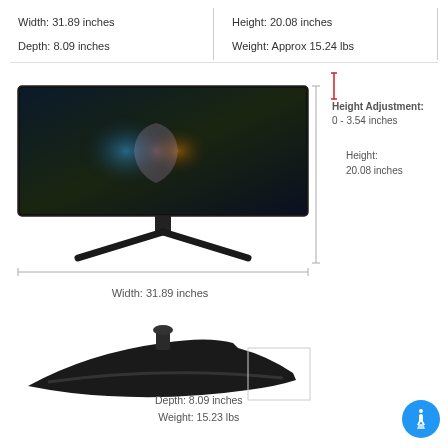Width: 31.89 inches
Height: 20.08 inches
Depth: 8.09 inches
Weight: Approx 15.24 lbs
[Figure (engineering-diagram): Front view of MSI curved ultra-wide gaming monitor on stand, with dimension lines showing width 31.89 inches and height 20.08 inches, and height adjustment annotation 0-3.54 inches]
Width: 31.89 inches
[Figure (engineering-diagram): Side/top view of MSI curved monitor base stand showing depth and weight dimensions]
Depth: 8.09 inches
Weight: 15.23 lbs